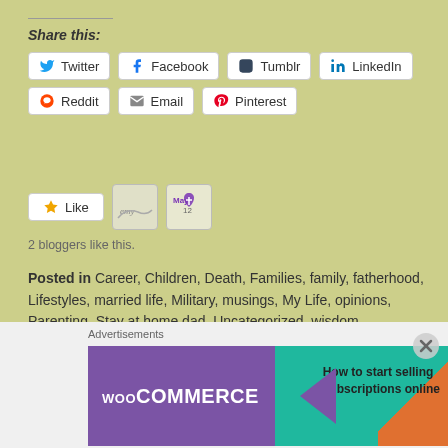Share this:
Twitter, Facebook, Tumblr, LinkedIn, Reddit, Email, Pinterest (share buttons)
Like
2 bloggers like this.
Posted in Career, Children, Death, Families, family, fatherhood, Lifestyles, married life, Military, musings, My Life, opinions, Parenting, Stay at home dad, Uncategorized, wisdom
Tagged aging, attitude, Blog, cooking dad, Dad, family, father, Fathering, Growing older, handful, Holiday, kids, lifestyles, Military, mom, musings, my life, opinions, parenthood, raising kids, social, sons, Sports cars, Thoughts, Wisdom
Advertisements
[Figure (infographic): WooCommerce advertisement banner: How to start selling subscriptions online]